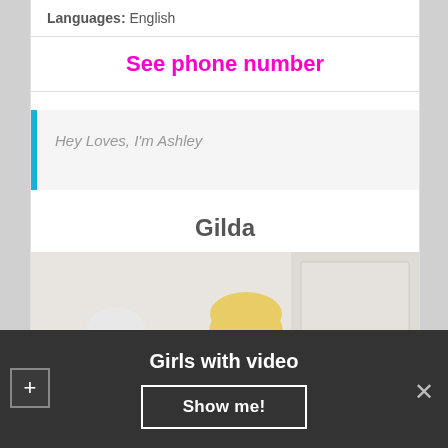Languages: English
See phone number
Hey Loves, I'm Ashley
Gilda
[Figure (photo): Photo of a blonde woman in a red top, smiling, in a room with white furniture]
Girls with video
Show me!